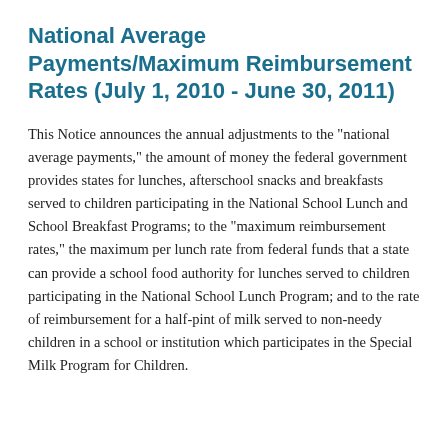National Average Payments/Maximum Reimbursement Rates (July 1, 2010 - June 30, 2011)
This Notice announces the annual adjustments to the "national average payments," the amount of money the federal government provides states for lunches, afterschool snacks and breakfasts served to children participating in the National School Lunch and School Breakfast Programs; to the "maximum reimbursement rates," the maximum per lunch rate from federal funds that a state can provide a school food authority for lunches served to children participating in the National School Lunch Program; and to the rate of reimbursement for a half-pint of milk served to non-needy children in a school or institution which participates in the Special Milk Program for Children.